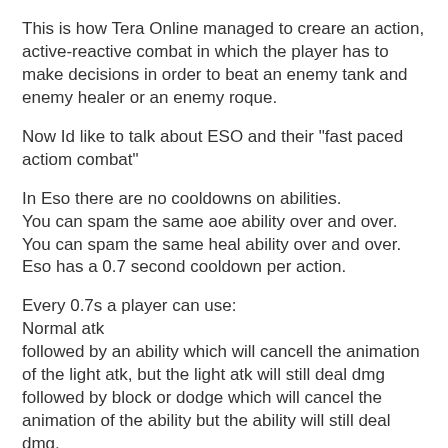This is how Tera Online managed to creare an action, active-reactive combat in which the player has to make decisions in order to beat an enemy tank and enemy healer or an enemy roque.
Now Id like to talk about ESO and their "fast paced actiom combat"
In Eso there are no cooldowns on abilities.
You can spam the same aoe ability over and over.
You can spam the same heal ability over and over.
Eso has a 0.7 second cooldown per action.
Every 0.7s a player can use:
Normal atk
followed by an ability which will cancell the animation of the light atk, but the light atk will still deal dmg
followed by block or dodge which will cancel the animation of the ability but the ability will still deal dmg.
This results in every ability that takes longer than a split of a second to register to be useless because Eso players want to